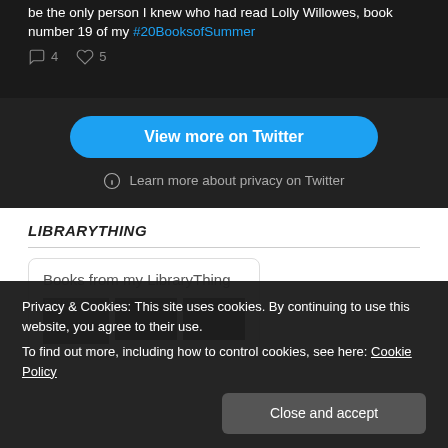be the only person I knew who had read Lolly Willowes, book number 19 of my #20BooksofSummer
4 replies, 5 likes
View more on Twitter
Learn more about privacy on Twitter
LIBRARYTHING
Books from my LibraryThing
[Figure (screenshot): Three book cover thumbnails from LibraryThing]
Privacy & Cookies: This site uses cookies. By continuing to use this website, you agree to their use.
To find out more, including how to control cookies, see here: Cookie Policy
Close and accept